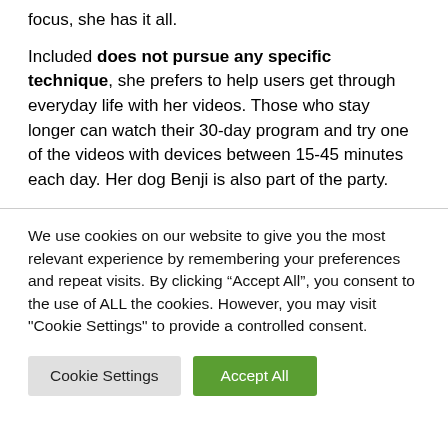focus, she has it all.
Included does not pursue any specific technique, she prefers to help users get through everyday life with her videos. Those who stay longer can watch their 30-day program and try one of the videos with devices between 15-45 minutes each day. Her dog Benji is also part of the party.
We use cookies on our website to give you the most relevant experience by remembering your preferences and repeat visits. By clicking “Accept All”, you consent to the use of ALL the cookies. However, you may visit "Cookie Settings" to provide a controlled consent.
Cookie Settings | Accept All